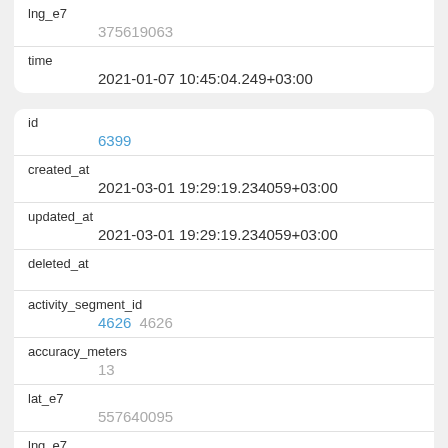| lng_e7 |  |
|  | 375619063 |
| time |  |
|  | 2021-01-07 10:45:04.249+03:00 |
| id | 6399 |
| created_at | 2021-03-01 19:29:19.234059+03:00 |
| updated_at | 2021-03-01 19:29:19.234059+03:00 |
| deleted_at |  |
| activity_segment_id | 4626 4626 |
| accuracy_meters | 13 |
| lat_e7 | 557640095 |
| lng_e7 |  |